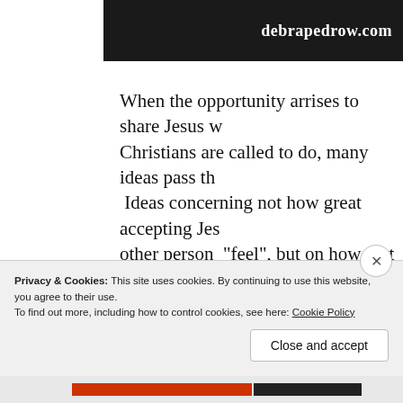[Figure (photo): Dark banner image with website text 'debrapedrow.com' in white on a dark/black background with some texture or imagery]
When the opportunity arrises to share Jesus w... Christians are called to do, many ideas pass th... Ideas concerning not how great accepting Jes... other person “feel”, but on how that person's...
Privacy & Cookies: This site uses cookies. By continuing to use this website, you agree to their use.
To find out more, including how to control cookies, see here: Cookie Policy
Close and accept